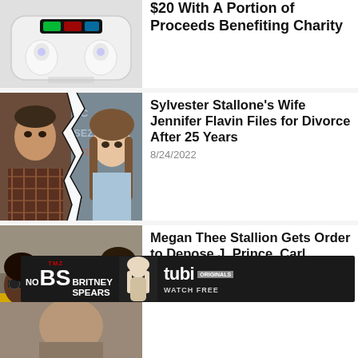[Figure (photo): Partial view of wireless earbuds in charging case with digital display]
$20 With A Portion of Proceeds Benefiting Charity
[Figure (photo): Sylvester Stallone and Jennifer Flavin side by side with a lightning bolt crack between them]
Sylvester Stallone's Wife Jennifer Flavin Files for Divorce After 25 Years
8/24/2022
[Figure (photo): Megan Thee Stallion with two men]
Megan Thee Stallion Gets Order to Depose J. Prince, Carl Crawford Over Contract
[Figure (other): TMZ No BS Britney Spears advertisement banner - tubi ORIGINALS WATCH FREE]
[Figure (photo): Bottom partial image, partially visible]